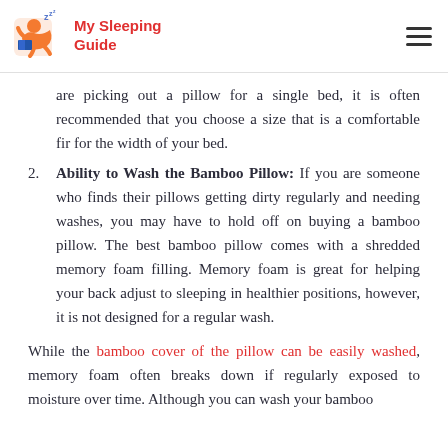[Figure (logo): My Sleeping Guide logo with cartoon character sleeping and red text]
are picking out a pillow for a single bed, it is often recommended that you choose a size that is a comfortable fir for the width of your bed.
2. Ability to Wash the Bamboo Pillow: If you are someone who finds their pillows getting dirty regularly and needing washes, you may have to hold off on buying a bamboo pillow. The best bamboo pillow comes with a shredded memory foam filling. Memory foam is great for helping your back adjust to sleeping in healthier positions, however, it is not designed for a regular wash.
While the bamboo cover of the pillow can be easily washed, memory foam often breaks down if regularly exposed to moisture over time. Although you can wash your bamboo